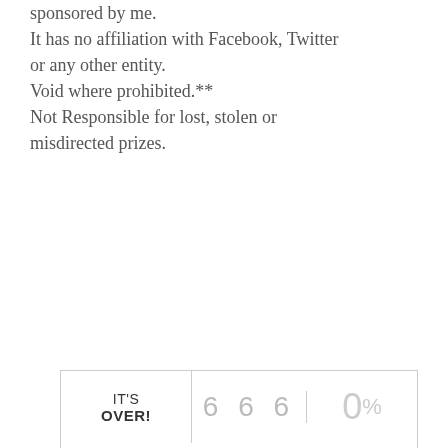sponsored by me.
It has no affiliation with Facebook, Twitter or any other entity.
Void where prohibited.**
Not Responsible for lost, stolen or misdirected prizes.
| IT'S OVER! | 6 6 6 | 0% |
| --- | --- | --- |
Stuck in a Good Boo YA $10
And the winner is...